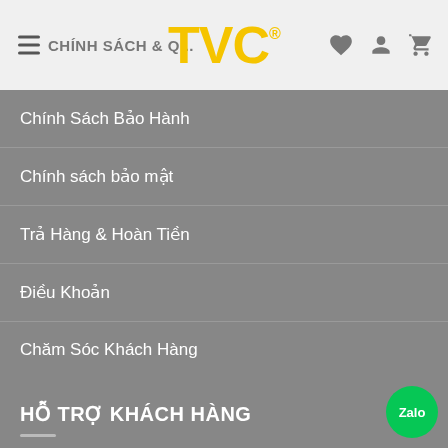TVC® — CHÍNH SÁCH & QUY ĐỊNH (navigation header with hamburger, logo, icons)
Chính Sách Bảo Hành
Chính sách bảo mật
Trả Hàng & Hoàn Tiền
Điều Khoản
Chăm Sóc Khách Hàng
HỖ TRỢ KHÁCH HÀNG
Hướng Dẫn Mua Hàng
Hướng Dẫn Thanh Toán
Vận Chuyển Hàng Hóa